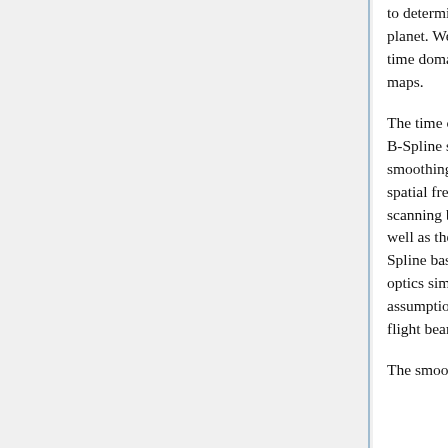to determine the pointing of each detector relative to the planet. We subtract the astrophysical background in the time domain using a bicubic interpolation of the Planck maps.
The time ordered data are used to fit a two dimensional B-Spline surface using a least square minimization and a smoothing criterion to minimize the effects of high spatial frequency variations. We therefore assume the scanning beam to be smooth. The smoothing criterion as well as the locations of the nodes used to compute the B-Spline basis functions are set using GRASP physical optics simulations as inputs which are the best assumptions on the spatial frequency content of the in-flight beams.
The smoothing criterion is defined as